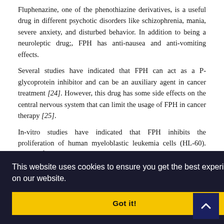Fluphenazine, one of the phenothiazine derivatives, is a useful drug in different psychotic disorders like schizophrenia, mania, severe anxiety, and disturbed behavior. In addition to being a neuroleptic drug;, FPH has anti-nausea and anti-vomiting effects.
Several studies have indicated that FPH can act as a P-glycoprotein inhibitor and can be an auxiliary agent in cancer treatment [24]. However, this drug has some side effects on the central nervous system that can limit the usage of FPH in cancer therapy [25].
In-vitro studies have indicated that FPH inhibits the proliferation of human myeloblastic leukemia cells (HL-60). Besides, this drug has a cytotoxic effect against the intraperitoneal L-1210 and P-388 leukemia murine tumor models. It has also been shown that FPH is able to induce apoptosis in a B16 mouse melanoma cell line and it can reduce
ongs to the hizophrenia. ation of cyclin- and causes to cease at the G1 phase of the cell cycle; therefore, FPL can h
This website uses cookies to ensure you get the best experience on our website.
Got it!